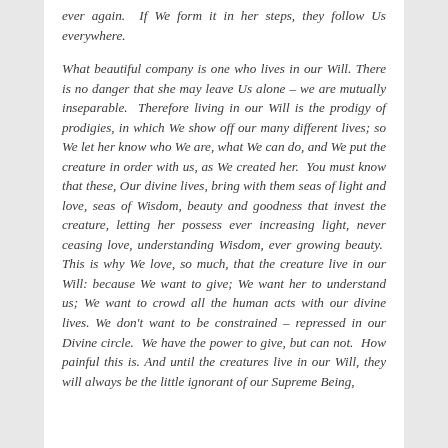ever again. If We form it in her steps, they follow Us everywhere.
What beautiful company is one who lives in our Will. There is no danger that she may leave Us alone – we are mutually inseparable. Therefore living in our Will is the prodigy of prodigies, in which We show off our many different lives; so We let her know who We are, what We can do, and We put the creature in order with us, as We created her. You must know that these, Our divine lives, bring with them seas of light and love, seas of Wisdom, beauty and goodness that invest the creature, letting her possess ever increasing light, never ceasing love, understanding Wisdom, ever growing beauty. This is why We love, so much, that the creature live in our Will: because We want to give; We want her to understand us; We want to crowd all the human acts with our divine lives. We don't want to be constrained – repressed in our Divine circle. We have the power to give, but can not. How painful this is. And until the creatures live in our Will, they will always be the little ignorant of our Supreme Being,